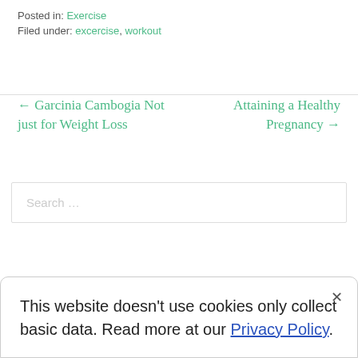Posted in: Exercise
Filed under: excercise, workout
← Garcinia Cambogia Not just for Weight Loss
Attaining a Healthy Pregnancy →
Search ...
This website doesn't use cookies only collect basic data. Read more at our Privacy Policy.